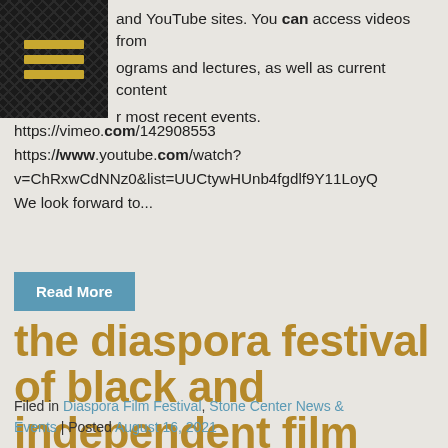[Figure (logo): Black diamond-pattern background with three horizontal gold/yellow lines (hamburger menu icon style)]
and YouTube sites. You can access videos from programs and lectures, as well as current content r most recent events.
https://vimeo.com/142908553
https://www.youtube.com/watch?v=ChRxwCdNNz0&list=UUCtywHUnb4fgdlf9Y11LoyQ
We look forward to...
Read More
the diaspora festival of black and independent film
Filed in Diaspora Film Festival, Stone Center News & Events | Posted August 16, 2021